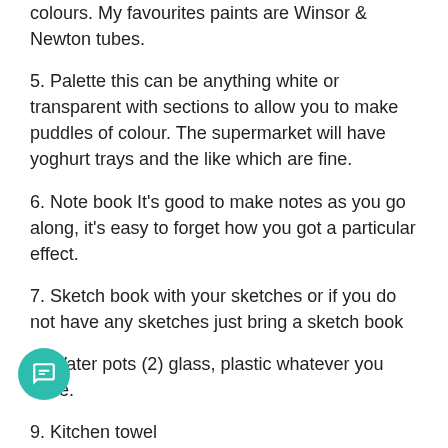colours. My favourites paints are Winsor & Newton tubes.
5. Palette this can be anything white or transparent with sections to allow you to make puddles of colour. The supermarket will have yoghurt trays and the like which are fine.
6. Note book It's good to make notes as you go along, it's easy to forget how you got a particular effect.
7. Sketch book with your sketches or if you do not have any sketches just bring a sketch book
8. Water pots (2) glass, plastic whatever you have.
9. Kitchen towel
10. A Work board – ply board is best, hardboards will